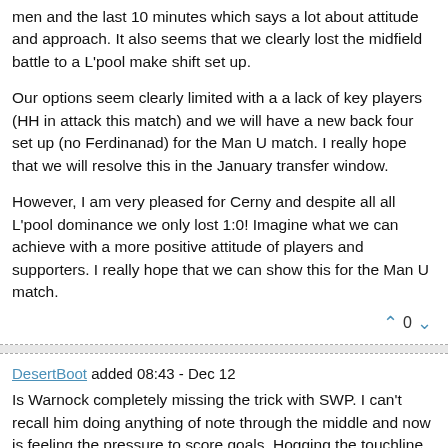men and the last 10 minutes which says a lot about attitude and approach. It also seems that we clearly lost the midfield battle to a L'pool make shift set up.
Our options seem clearly limited with a a lack of key players (HH in attack this match) and we will have a new back four set up (no Ferdinanad) for the Man U match. I really hope that we will resolve this in the January transfer window.
However, I am very pleased for Cerny and despite all all L'pool dominance we only lost 1:0! Imagine what we can achieve with a more positive attitude of players and supporters. I really hope that we can show this for the Man U match.
DesertBoot added 08:43 - Dec 12
Is Warnock completely missing the trick with SWP. I can't recall him doing anything of note through the middle and now is feeling the pressure to score goals. Hogging the touchline (preferably on the right) is surely playing to his strengths.